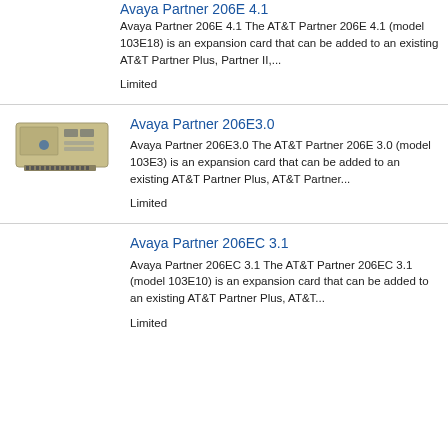Avaya Partner 206E 4.1
Avaya Partner 206E 4.1 The AT&T Partner 206E 4.1 (model 103E18) is an expansion card that can be added to an existing AT&T Partner Plus, Partner II,...
Limited
[Figure (photo): Photo of Avaya Partner 206E 3.0 expansion card, a rectangular beige/tan hardware card]
Avaya Partner 206E3.0
Avaya Partner 206E3.0 The AT&T Partner 206E 3.0 (model 103E3) is an expansion card that can be added to an existing AT&T Partner Plus, AT&T Partner...
Limited
Avaya Partner 206EC 3.1
Avaya Partner 206EC 3.1 The AT&T Partner 206EC 3.1 (model 103E10) is an expansion card that can be added to an existing AT&T Partner Plus, AT&T...
Limited